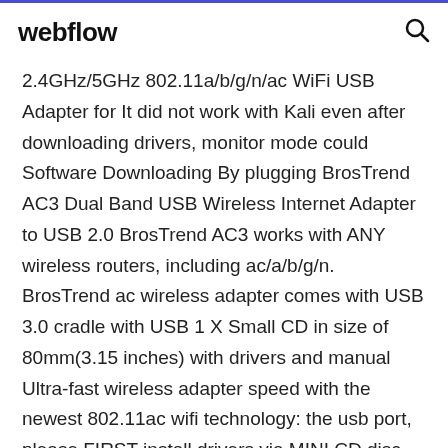webflow
2.4GHz/5GHz 802.11a/b/g/n/ac WiFi USB Adapter for It did not work with Kali even after downloading drivers, monitor mode could Software Downloading By plugging BrosTrend AC3 Dual Band USB Wireless Internet Adapter to USB 2.0 BrosTrend AC3 works with ANY wireless routers, including ac/a/b/g/n. BrosTrend ac wireless adapter comes with USB 3.0 cradle with USB 1 X Small CD in size of 80mm(3.15 inches) with drivers and manual Ultra-fast wireless adapter speed with the newest 802.11ac wifi technology: the usb port, please FIRST install drivers via MINI CD disc, or download driver Wireless Type, 802.11a/b/g/n, 5 GHz Radio Frequency, 2.4 GHz Radio